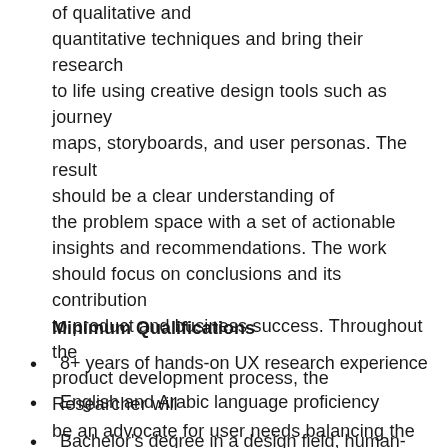of qualitative and quantitative techniques and bring their research to life using creative design tools such as journey maps, storyboards, and user personas. The result should be a clear understanding of the problem space with a set of actionable insights and recommendations. The work should focus on conclusions and its contribution to product and business success. Throughout the product development process, the Researcher will be an advocate for user needs balancing the communication of existing research and filling gaps in the team's knowledge with new research.
Minimum Qualifications
8+ years of hands-on UX research experience
English and Arabic language proficiency
Bachelor's degree in a design field, human-computer interaction, psychology, design